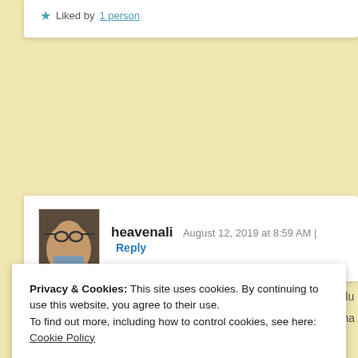★ Liked by 1 person
[Figure (photo): User avatar photo of heavenali — person wearing glasses]
heavenali  August 12, 2019 at 8:59 AM | Reply
Privacy & Cookies: This site uses cookies. By continuing to use this website, you agree to their use.
To find out more, including how to control cookies, see here: Cookie Policy
Close and accept